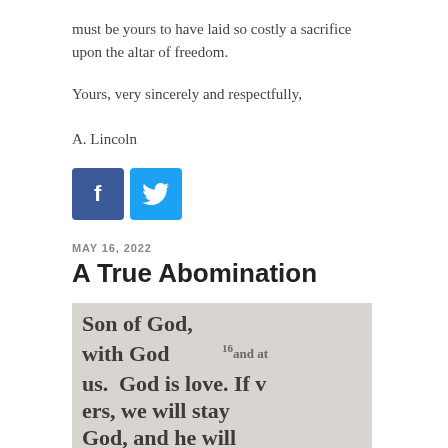must be yours to have laid so costly a sacrifice upon the altar of freedom.
Yours, very sincerely and respectfully,
A. Lincoln
[Figure (other): Facebook and Twitter social sharing icons]
MAY 16, 2022
A True Abomination
[Figure (photo): Close-up photo of Bible text reading: Son of God, with God and at us. God is love. If v ers, we will stay God, and he will truly love oth]